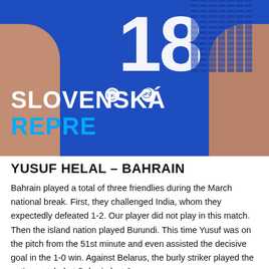[Figure (photo): Photo of a football player wearing a blue jersey with number 18, posing with hands on hips. Text overlay reads 'SLOVENSKÁ REPRE' in white and cyan.]
YUSUF HELAL – BAHRAIN
Bahrain played a total of three friendlies during the March national break. First, they challenged India, whom they expectedly defeated 1-2. Our player did not play in this match. Then the island nation played Burundi. This time Yusuf was on the pitch from the 51st minute and even assisted the decisive goal in the 1-0 win. Against Belarus, the burly striker played the entire match, but Bahrain lost 0-